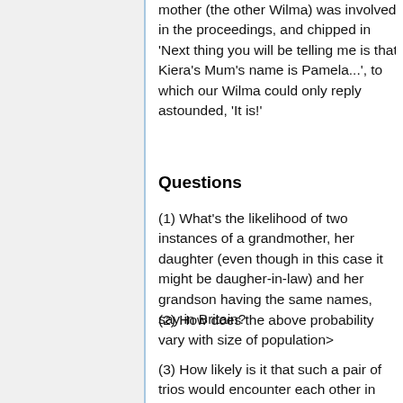mother (the other Wilma) was involved in the proceedings, and chipped in 'Next thing you will be telling me is that Kiera's Mum's name is Pamela...', to which our Wilma could only reply astounded, 'It is!'
Questions
(1) What's the likelihood of two instances of a grandmother, her daughter (even though in this case it might be daugher-in-law) and her grandson having the same names, say in Britain?
(2) How does the above probability vary with size of population>
(3) How likely is it that such a pair of trios would encounter each other in person?